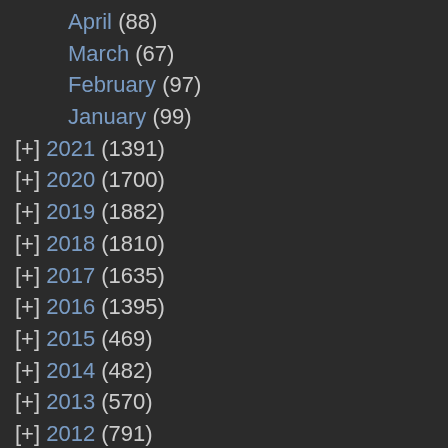April (88)
March (67)
February (97)
January (99)
[+] 2021 (1391)
[+] 2020 (1700)
[+] 2019 (1882)
[+] 2018 (1810)
[+] 2017 (1635)
[+] 2016 (1395)
[+] 2015 (469)
[+] 2014 (482)
[+] 2013 (570)
[+] 2012 (791)
[+] 2011 (937)
[+] 2010 (1546)
[+] 2009 (1483)
[+] 2008 (1804)